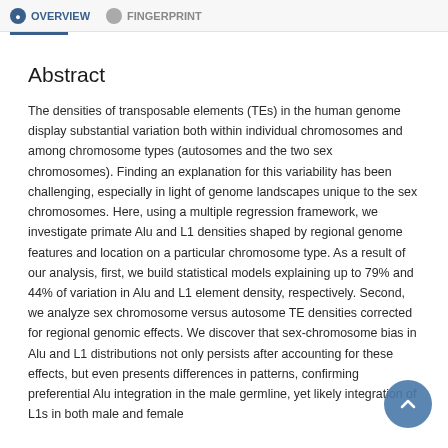Overview  Fingerprint
Abstract
The densities of transposable elements (TEs) in the human genome display substantial variation both within individual chromosomes and among chromosome types (autosomes and the two sex chromosomes). Finding an explanation for this variability has been challenging, especially in light of genome landscapes unique to the sex chromosomes. Here, using a multiple regression framework, we investigate primate Alu and L1 densities shaped by regional genome features and location on a particular chromosome type. As a result of our analysis, first, we build statistical models explaining up to 79% and 44% of variation in Alu and L1 element density, respectively. Second, we analyze sex chromosome versus autosome TE densities corrected for regional genomic effects. We discover that sex-chromosome bias in Alu and L1 distributions not only persists after accounting for these effects, but even presents differences in patterns, confirming preferential Alu integration in the male germline, yet likely integration of L1s in both male and female